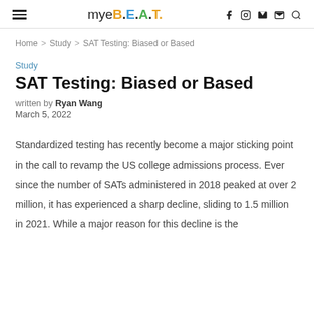myeB.E.A.T.
Home > Study > SAT Testing: Biased or Based
Study
SAT Testing: Biased or Based
written by Ryan Wang
March 5, 2022
Standardized testing has recently become a major sticking point in the call to revamp the US college admissions process. Ever since the number of SATs administered in 2018 peaked at over 2 million, it has experienced a sharp decline, sliding to 1.5 million in 2021. While a major reason for this decline is the